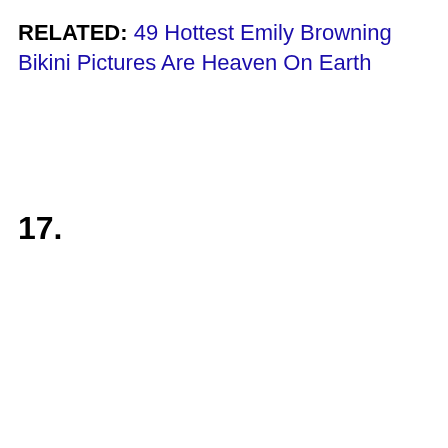RELATED: 49 Hottest Emily Browning Bikini Pictures Are Heaven On Earth
17.